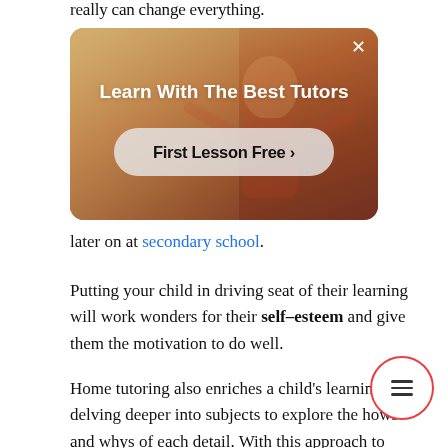really can change everything.
[Figure (screenshot): Advertisement banner with warm photo background showing a person in red, with white bold text 'Learn With The Best Tutors' and a button 'First Lesson Free >' on a semi-transparent white pill-shaped button. Close X button in top right corner.]
later on at secondary school.
Putting your child in driving seat of their learning will work wonders for their self-esteem and give them the motivation to do well.
Home tutoring also enriches a child's learnin delving deeper into subjects to explore the hows and whys of each detail. With this approach to